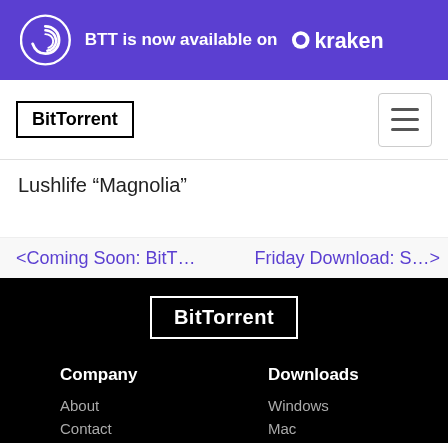[Figure (infographic): Purple banner: BitTorrent spiral logo, text 'BTT is now available on', and Kraken crypto exchange logo in white]
[Figure (logo): BitTorrent logo in black border box, navigation bar with hamburger menu]
Lushlife “Magnolia”
< Coming Soon: BitT…
Friday Download: S… >
[Figure (logo): BitTorrent footer logo in white text on black background]
Company
About
Contact
Downloads
Windows
Mac